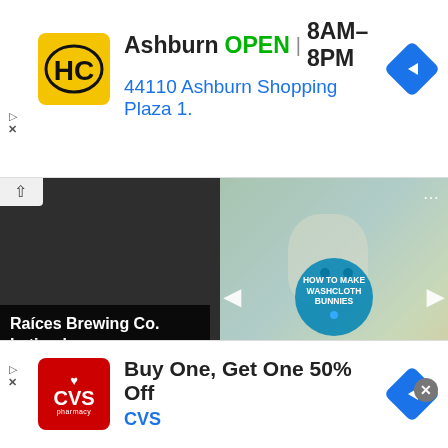[Figure (screenshot): Top advertisement banner for HC (Harris Cheeky) store in Ashburn showing OPEN status 8AM-8PM and address 44110 Ashburn Shopping Plaza 1. with navigation arrow icon]
[Figure (screenshot): Main content area showing a video player with beer/brewing scene at top, media controls (skip-back, pause, skip-forward), progress bar, and below a split view: left side shows Raices Brewing Co. Latino beer news card from Wells Fargo News, right side shows HOW TO MAKE WASHCLOTH BUNNIES craft video with navigation controls]
[Figure (screenshot): Bottom advertisement banner for CVS Pharmacy: Buy One, Get One 50% Off with navigation arrow icon]